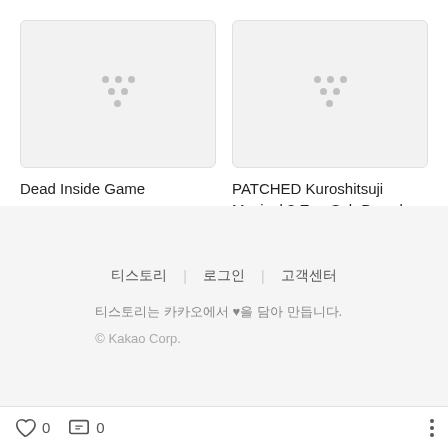[Figure (screenshot): Card thumbnail placeholder with loading dots indicator on light gray background]
Dead Inside Game
[Figure (screenshot): Card thumbnail placeholder with loading dots indicator on light gray background]
PATCHED Kuroshitsuji Musical 3 Eng Sub Downlo…
티스토리 | 로그인 | 고객센터
티스토리는 카카오에서 ♥을 담아 만듭니다.
© Kakao Corp.